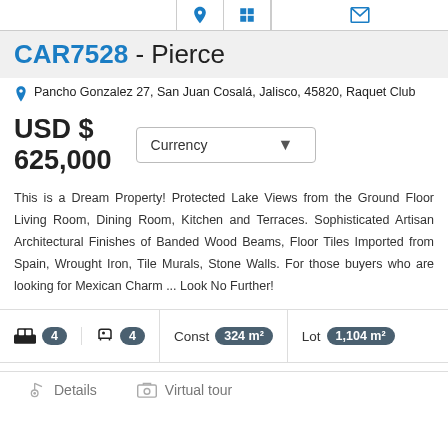CAR7528 - Pierce
Pancho Gonzalez 27, San Juan Cosalá, Jalisco, 45820, Raquet Club
USD $ 625,000
This is a Dream Property! Protected Lake Views from the Ground Floor Living Room, Dining Room, Kitchen and Terraces. Sophisticated Artisan Architectural Finishes of Banded Wood Beams, Floor Tiles Imported from Spain, Wrought Iron, Tile Murals, Stone Walls. For those buyers who are looking for Mexican Charm ... Look No Further!
4 bedrooms, 4 bathrooms, Const 324 m², Lot 1,104 m²
Details   Virtual tour